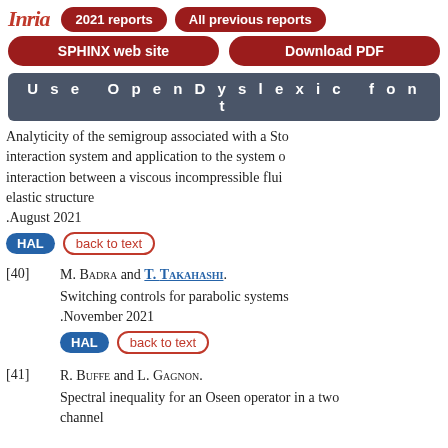Inria — 2021 reports | All previous reports | SPHINX web site | Download PDF | Use OpenDyslexic font
Analyticity of the semigroup associated with a Sto- interaction system and application to the system o- interaction between a viscous incompressible flui- elastic structure .August 2021
HAL  back to text
[40] M. Badra and T. Takahashi. Switching controls for parabolic systems .November 2021
HAL  back to text
[41] R. Buffe and L. Gagnon. Spectral inequality for an Oseen operator in a two channel